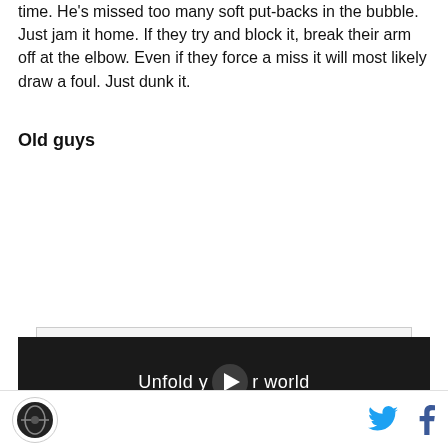time. He's missed too many soft put-backs in the bubble. Just jam it home. If they try and block it, break their arm off at the elbow. Even if they force a miss it will most likely draw a foul. Just dunk it.
Old guys
[Figure (other): Advertisement area with 'AD' label in top right, gray background, followed by a dark video thumbnail showing a person in a car holding a phone with text 'Unfold your world' and a play button overlay.]
Logo icon, Twitter icon, Facebook icon